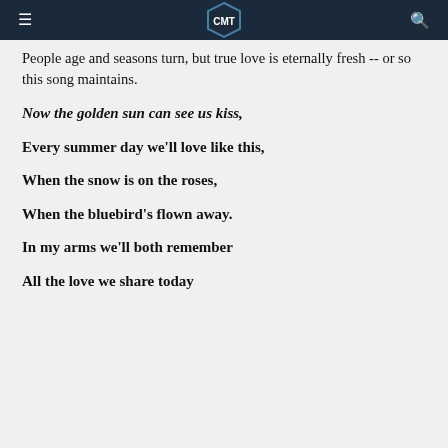CMT
People age and seasons turn, but true love is eternally fresh -- or so this song maintains.
Now the golden sun can see us kiss,
Every summer day we'll love like this,
When the snow is on the roses,
When the bluebird's flown away.
In my arms we'll both remember
All the love we share today